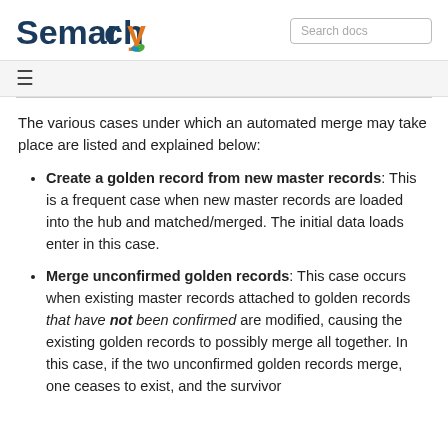Semarchy | Search docs
The various cases under which an automated merge may take place are listed and explained below:
Create a golden record from new master records: This is a frequent case when new master records are loaded into the hub and matched/merged. The initial data loads enter in this case.
Merge unconfirmed golden records: This case occurs when existing master records attached to golden records that have not been confirmed are modified, causing the existing golden records to possibly merge all together. In this case, if the two unconfirmed golden records merge, one ceases to exist, and the survivor